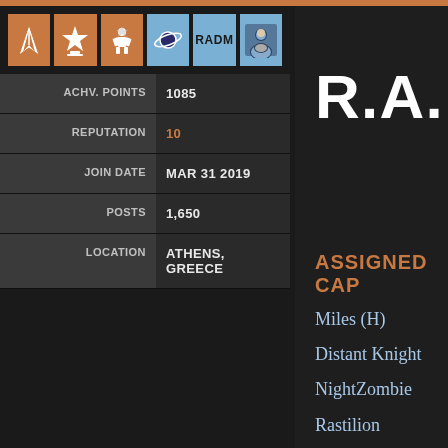[Figure (infographic): Top orange bar decoration]
[Figure (infographic): Row of 6 badges: Starfleet delta (orange), trophy/star (orange), rank figure (orange), planet/Saturn (blue), RADM text badge (blue), portrait photo (blue)]
| Label | Value |
| --- | --- |
| ACHV. POINTS | 1085 |
| REPUTATION | 10 |
| JOIN DATE | MAR 31 2019 |
| POSTS | 1,650 |
| LOCATION | ATHENS, GREECE |
R.A.
ASSIGNED CAP
Miles (H)
Distant Knight
NightZombie
Rastilion